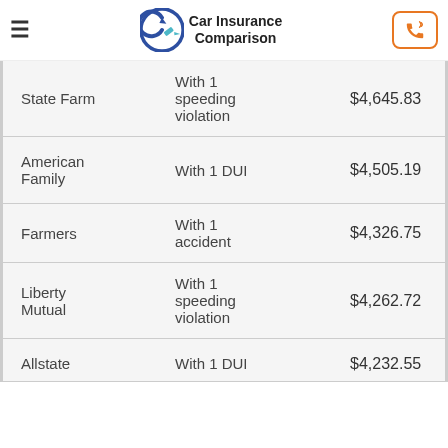Car Insurance Comparison
| Company | Condition | Rate |
| --- | --- | --- |
| State Farm | With 1 speeding violation | $4,645.83 |
| American Family | With 1 DUI | $4,505.19 |
| Farmers | With 1 accident | $4,326.75 |
| Liberty Mutual | With 1 speeding violation | $4,262.72 |
| Allstate | With 1 DUI | $4,232.55 |